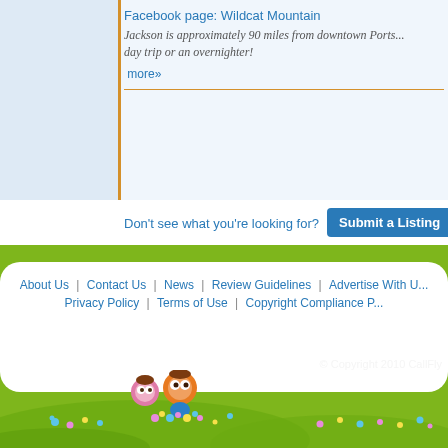Facebook page: Wildcat Mountain
Jackson is approximately 90 miles from downtown Ports... day trip or an overnighter!
more»
Don't see what you're looking for?
Submit a Listing
About Us | Contact Us | News | Review Guidelines | Advertise With Us | Privacy Policy | Terms of Use | Copyright Compliance P...
© Copyright 2010 CallFly
[Figure (illustration): Cartoon characters (a pink character and an orange character) sitting on a green hill with colorful flowers, with a white speech bubble above them. Background shows green rolling hills with scattered flowers.]